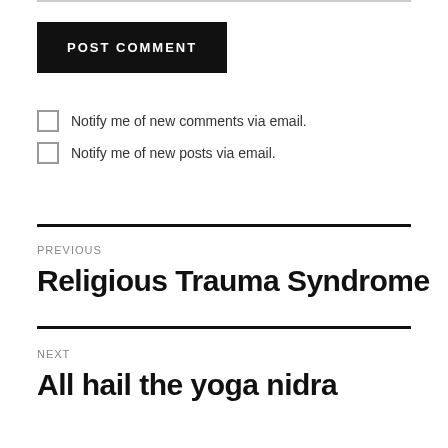POST COMMENT
Notify me of new comments via email.
Notify me of new posts via email.
PREVIOUS
Religious Trauma Syndrome
NEXT
All hail the yoga nidra